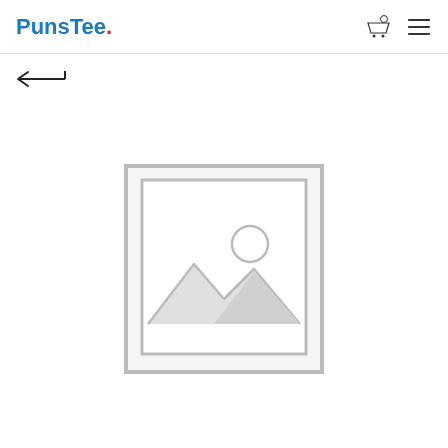PunsTee.
[Figure (illustration): Back navigation arrow icon]
[Figure (photo): Placeholder image with mountain and sun landscape icon, shown in a light grey outlined square frame]